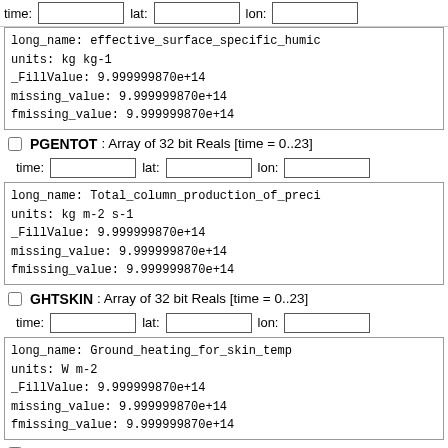| time: |  | lat: |  | lon: |  |
long_name: effective_surface_specific_humid
units: kg kg-1
_FillValue: 9.999999870e+14
missing_value: 9.999999870e+14
fmissing_value: 9.999999870e+14
PGENTOT: Array of 32 bit Reals [time = 0..23]
time:  lat:  lon:
long_name: Total_column_production_of_preci
units: kg m-2 s-1
_FillValue: 9.999999870e+14
missing_value: 9.999999870e+14
fmissing_value: 9.999999870e+14
GHTSKIN: Array of 32 bit Reals [time = 0..23]
time:  lat:  lon:
long_name: Ground_heating_for_skin_temp
units: W m-2
_FillValue: 9.999999870e+14
missing_value: 9.999999870e+14
fmissing_value: 9.999999870e+14
PRECSNO: Array of 32 bit Reals [time = 0..23]
time:  lat:  lon:
long_name: snowfall
units: kg m-2 s-1
_FillValue: 9.999999870e+14
missing_value: 9.999999870e+14